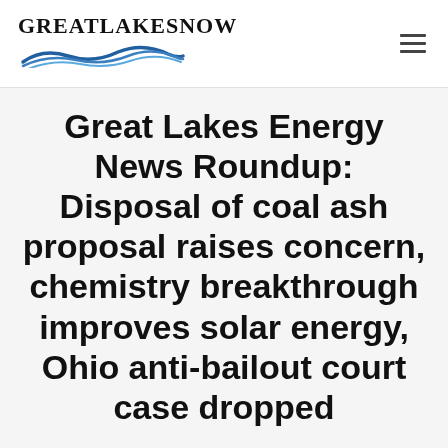GreatLakesNow
Great Lakes Energy News Roundup: Disposal of coal ash proposal raises concern, chemistry breakthrough improves solar energy, Ohio anti-bailout court case dropped